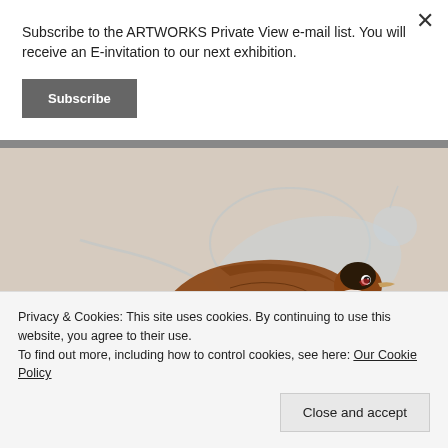Subscribe to the ARTWORKS Private View e-mail list. You will receive an E-invitation to our next exhibition.
Subscribe
[Figure (photo): A detailed illustration/artwork of a pheasant bird (brown/rust colored) with a faint shadow or engraved pheasant silhouette in the background, on a pale beige/cream background.]
Privacy & Cookies: This site uses cookies. By continuing to use this website, you agree to their use.
To find out more, including how to control cookies, see here: Our Cookie Policy
Close and accept